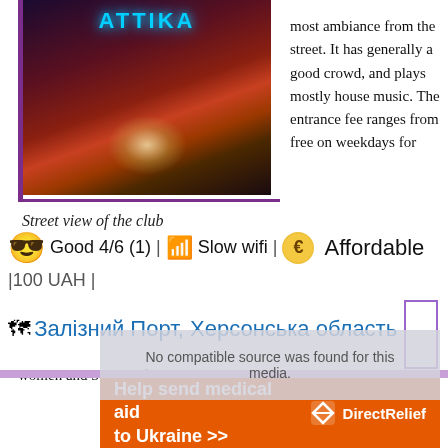[Figure (photo): Street view of club ATTIKA with neon blue sign and red/orange lighting]
Street view of the club
most ambiance from the street. It has generally a good crowd, and plays mostly house music. The entrance fee ranges from free on weekdays for
women and 50UAH for men to 100 on weekends.
😎 Good 4/6 (1) | 📶 Slow wifi | € Affordable |100 UAH |
🗺 Залізний Порт, Херсонська область
[Figure (other): No compatible source was found for this media]
Help send medical aid to Ukraine >> DirectRelief